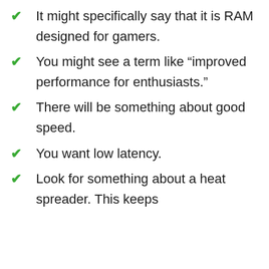It might specifically say that it is RAM designed for gamers.
You might see a term like “improved performance for enthusiasts.”
There will be something about good speed.
You want low latency.
Look for something about a heat spreader. This keeps